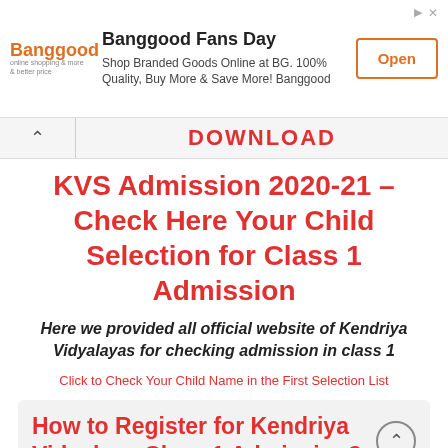[Figure (infographic): Banggood advertisement banner with logo, title 'Banggood Fans Day', description text, and orange Open button]
DOWNLOAD
KVS Admission 2020-21 – Check Here Your Child Selection for Class 1 Admission
Here we provided all official website of Kendriya Vidyalayas for checking admission in class 1
Click to Check Your Child Name in the First Selection List
How to Register for Kendriya Vidyalaya Class 1 Admission?